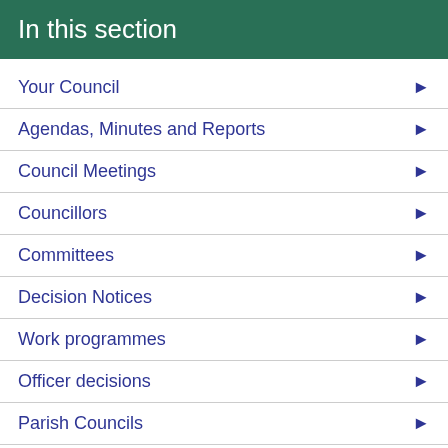In this section
Your Council
Agendas, Minutes and Reports
Council Meetings
Councillors
Committees
Decision Notices
Work programmes
Officer decisions
Parish Councils
Petitions